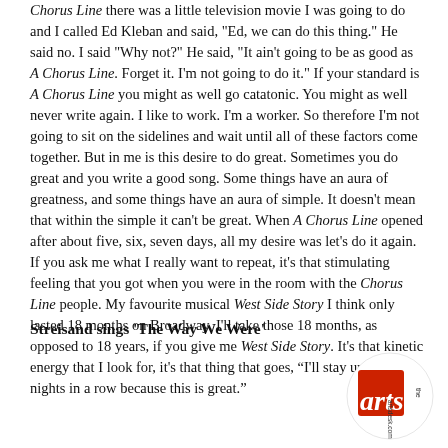Chorus Line there was a little television movie I was going to do and I called Ed Kleban and said, "Ed, we can do this thing." He said no. I said "Why not?" He said, "It ain't going to be as good as A Chorus Line. Forget it. I'm not going to do it." If your standard is A Chorus Line you might as well go catatonic. You might as well never write again. I like to work. I'm a worker. So therefore I'm not going to sit on the sidelines and wait until all of these factors come together. But in me is this desire to do great. Sometimes you do great and you write a good song. Some things have an aura of greatness, and some things have an aura of simple. It doesn't mean that within the simple it can't be great. When A Chorus Line opened after about five, six, seven days, all my desire was let's do it again. If you ask me what I really want to repeat, it's that stimulating feeling that you got when you were in the room with the Chorus Line people. My favourite musical West Side Story I think only lasted 18 months on Broadway. I'll take those 18 months, as opposed to 18 years, if you give me West Side Story. It's that kinetic energy that I look for, it's that thing that goes, “I'll stay up three nights in a row because this is great.”
Streisand sings 'The Way We Were'
[Figure (logo): Arts desk logo — circular badge with red square and 'arts' text and 'artsdesk.com' text]